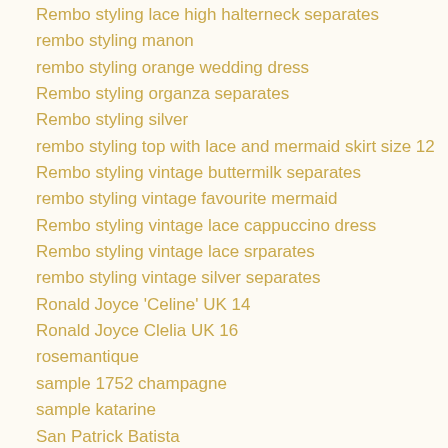Rembo styling lace high halterneck separates
rembo styling manon
rembo styling orange wedding dress
Rembo styling organza separates
Rembo styling silver
rembo styling top with lace and mermaid skirt size 12
Rembo styling vintage buttermilk separates
rembo styling vintage favourite mermaid
Rembo styling vintage lace cappuccino dress
Rembo styling vintage lace srparates
rembo styling vintage silver separates
Ronald Joyce 'Celine' UK 14
Ronald Joyce Clelia UK 16
rosemantique
sample 1752 champagne
sample katarine
San Patrick Batista
San Patrick Zelanda